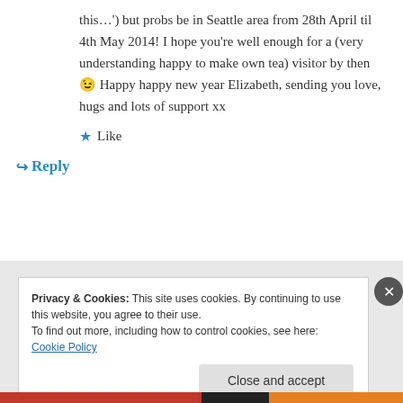this…') but probs be in Seattle area from 28th April til 4th May 2014! I hope you're well enough for a (very understanding happy to make own tea) visitor by then 😉 Happy happy new year Elizabeth, sending you love, hugs and lots of support xx
★ Like
↪ Reply
Privacy & Cookies: This site uses cookies. By continuing to use this website, you agree to their use.
To find out more, including how to control cookies, see here: Cookie Policy
Close and accept